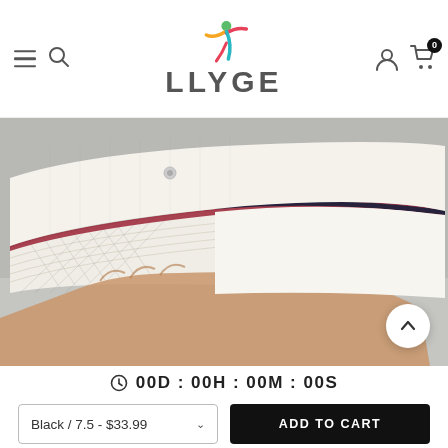LLYGE - online store header with menu, search, user and cart icons
[Figure (photo): Close-up photo of a white canvas sneaker sole being held by a hand, showing textured rubber sole and dark stripe trim]
00D : 00H : 00M : 00S
Black / 7.5 - $33.99
ADD TO CART